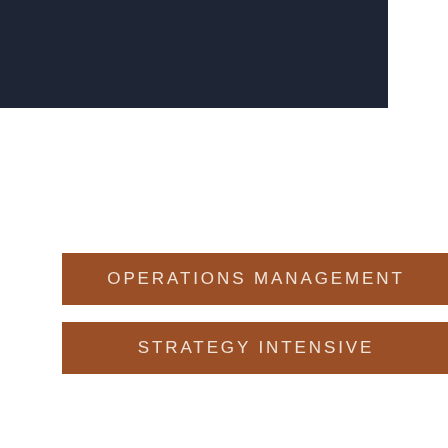[Figure (other): Dark navy blue rectangular header bar spanning the top-left portion of the page]
OPERATIONS MANAGEMENT
STRATEGY INTENSIVE